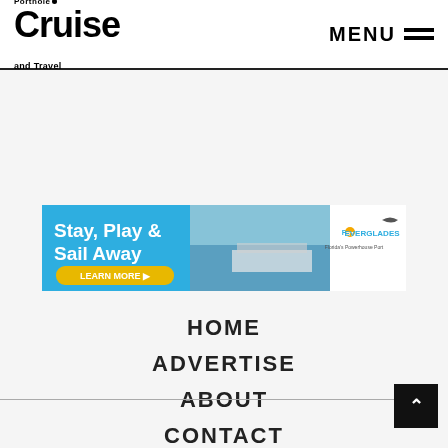Porthole Cruise and Travel — MENU
[Figure (illustration): Port Everglades advertisement banner: 'Stay, Play & Sail Away — LEARN MORE' with aerial photo of cruise ship and Port Everglades logo]
HOME
ADVERTISE
ABOUT
CONTACT
Back to top